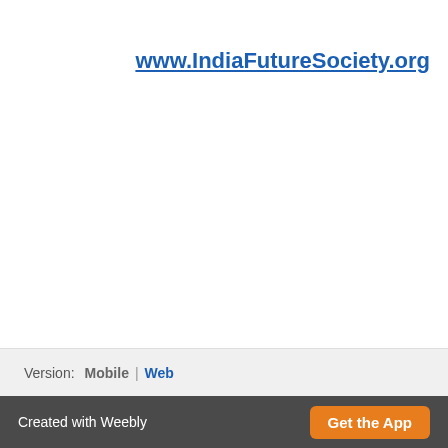www.IndiaFutureSociety.org
Version: Mobile | Web
Created with Weebly  Get the App